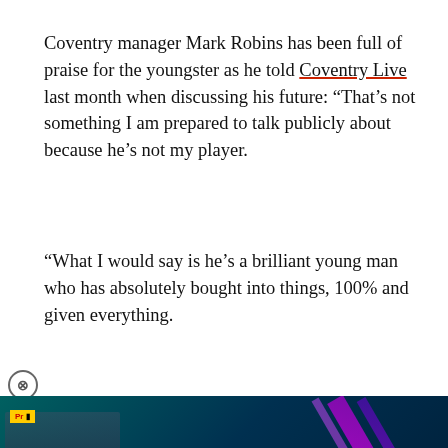Coventry manager Mark Robins has been full of praise for the youngster as he told Coventry Live last month when discussing his future: “That’s not something I am prepared to talk publicly about because he’s not my player.
“What I would say is he’s a brilliant young man who has absolutely bought into things, 100% and given everything.
[Figure (screenshot): Video advertisement thumbnail showing boxing event: KSI vs WARMZ / KSI vs PINEDA, 27.8.2022, with fighters and a play button overlay. Yellow tag label visible. Livesport logo on right.]